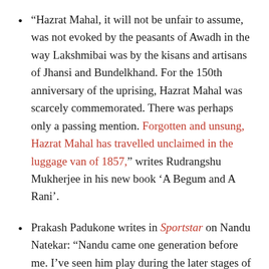“Hazrat Mahal, it will not be unfair to assume, was not evoked by the peasants of Awadh in the way Lakshmibai was by the kisans and artisans of Jhansi and Bundelkhand. For the 150th anniversary of the uprising, Hazrat Mahal was scarcely commemorated. There was perhaps only a passing mention. Forgotten and unsung, Hazrat Mahal has travelled unclaimed in the luggage van of 1857,” writes Rudrangshu Mukherjee in his new book ‘A Begum and A Rani’.
Prakash Padukone writes in Sportstar on Nandu Natekar: “Nandu came one generation before me. I’ve seen him play during the later stages of his career. He was one of the most stylish badminton players in the world, alongside